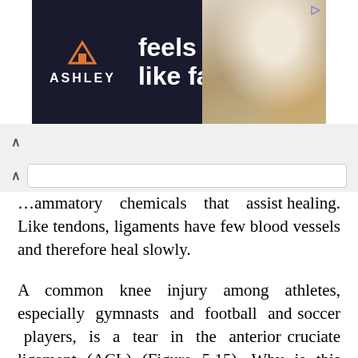[Figure (other): Ashley Furniture advertisement banner with dark background, logo, 'feels like fall' tagline, 'shop now' button, and bedroom image on the right.]
...ammatory chemicals that assist healing. Like tendons, ligaments have few blood vessels and therefore heal slowly.
A common knee injury among athletes, especially gymnasts and football and soccer players, is a tear in the anterior cruciate ligament (ACL) (Figure 5.15). Why is this ligament so vulnerable? When the knee is bent, the ACL acts as a restraining wire that restricts front-to-back twisting movement between the thighbone (femur) and the shinbone (tibia). An external blow to a bent knee—as may occur during a